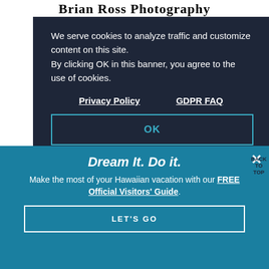Brian Ross Photography
[Figure (screenshot): GDPR cookie consent overlay on a photography website. Dark navy background with white text. Shows cookie policy notice with Privacy Policy and GDPR FAQ links, and an OK button with teal border.]
We serve cookies to analyze traffic and customize content on this site. By clicking OK in this banner, you agree to the use of cookies.
Privacy Policy    GDPR FAQ
OK
BACK TO TOP
[Figure (screenshot): Hawaiian vacation promotional banner with teal/blue background. Shows 'Dream It. Do it.' headline and text about FREE Official Visitors' Guide with LET'S GO button.]
Dream It. Do it.
Make the most of your Hawaiian vacation with our FREE Official Visitors' Guide.
LET'S GO